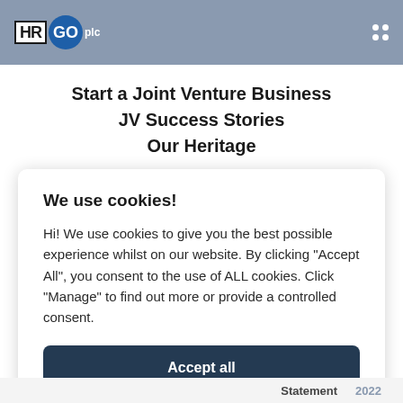HRGO plc
Start a Joint Venture Business
JV Success Stories
Our Heritage
We use cookies!
Hi! We use cookies to give you the best possible experience whilst on our website. By clicking "Accept All", you consent to the use of ALL cookies. Click "Manage" to find out more or provide a controlled consent.
Accept all
Manage
Statement 2022